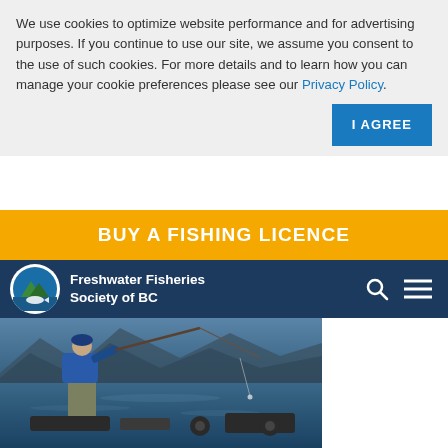We use cookies to optimize website performance and for advertising purposes. If you continue to use our site, we assume you consent to the use of such cookies. For more details and to learn how you can manage your cookie preferences please see our Privacy Policy.
I AGREE
BUY A FISHING LICENCE
Freshwater Fisheries Society of BC
[Figure (photo): A person in fishing gear (blue jacket, waders) standing on a boat on a lake, holding a fishing rod, with mountains visible in the background. Multiple fishing rods are set up on the boat.]